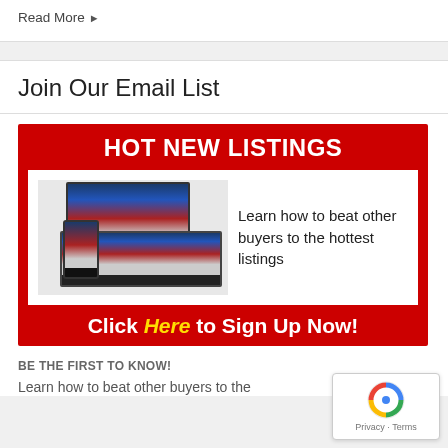Read More ▶
Join Our Email List
[Figure (infographic): Red banner advertisement with white text 'HOT NEW LISTINGS' at top, an inner white box showing device mockups (monitor, laptop, phone) with website screenshots and text 'Learn how to beat other buyers to the hottest listings', and footer text 'Click Here to Sign Up Now!' in white with 'Here' in yellow italic.]
BE THE FIRST TO KNOW!
Learn how to beat other buyers to the